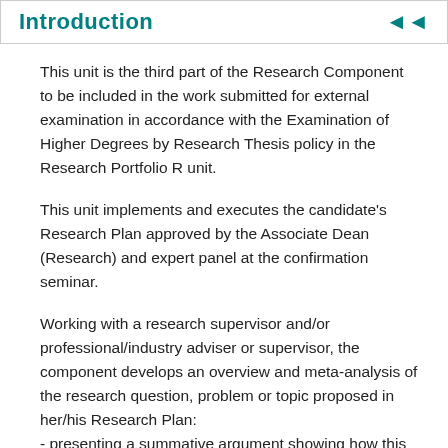Introduction  ◄◄
This unit is the third part of the Research Component to be included in the work submitted for external examination in accordance with the Examination of Higher Degrees by Research Thesis policy in the Research Portfolio R unit.
This unit implements and executes the candidate's Research Plan approved by the Associate Dean (Research) and expert panel at the confirmation seminar.
Working with a research supervisor and/or professional/industry adviser or supervisor, the component develops an overview and meta-analysis of the research question, problem or topic proposed in her/his Research Plan:
- presenting a summative argument showing how this particular body of research